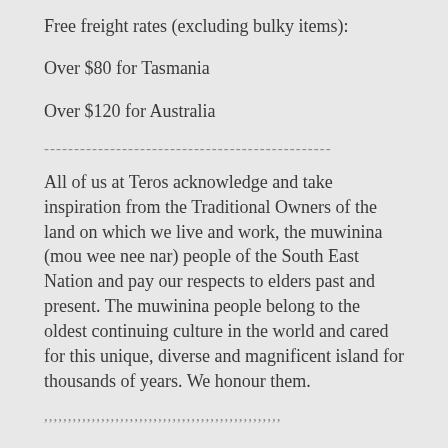Free freight rates (excluding bulky items):
Over $80 for Tasmania
Over $120 for Australia
------------------------------------------------
All of us at Teros acknowledge and take inspiration from the Traditional Owners of the land on which we live and work, the muwinina (mou wee nee nar) people of the South East Nation and pay our respects to elders past and present. The muwinina people belong to the oldest continuing culture in the world and cared for this unique, diverse and magnificent island for thousands of years. We honour them.
,,,,,,,,,,,,,,,,,,,,,,,,,,,,,,,,,,,,,,,,,,,,,,,,,,